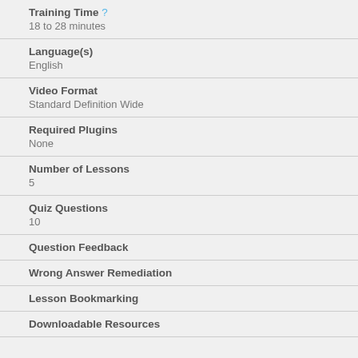Training Time ?
18 to 28 minutes
Language(s)
English
Video Format
Standard Definition Wide
Required Plugins
None
Number of Lessons
5
Quiz Questions
10
Question Feedback
Wrong Answer Remediation
Lesson Bookmarking
Downloadable Resources